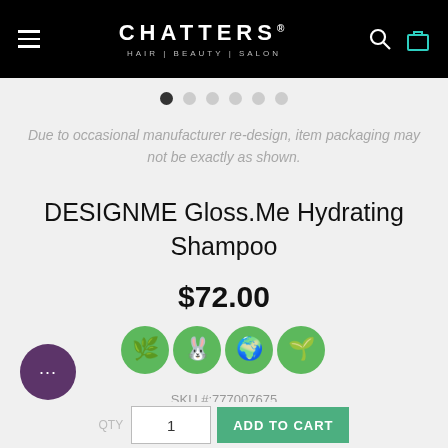CHATTERS HAIR | BEAUTY | SALON
Due to occasional manufacturer re-design, item packaging may not be exactly as shown.
DESIGNME Gloss.Me Hydrating Shampoo
$72.00
[Figure (infographic): Four green circular badge icons representing product certifications]
SKU #:777007675